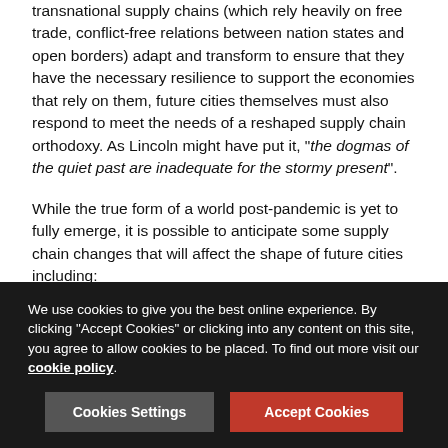transnational supply chains (which rely heavily on free trade, conflict-free relations between nation states and open borders) adapt and transform to ensure that they have the necessary resilience to support the economies that rely on them, future cities themselves must also respond to meet the needs of a reshaped supply chain orthodoxy. As Lincoln might have put it, "the dogmas of the quiet past are inadequate for the stormy present".
While the true form of a world post-pandemic is yet to fully emerge, it is possible to anticipate some supply chain changes that will affect the shape of future cities including:
Increased need for high capacity, resilient digital infrastructure: Data and connectivity are likely to be the lifeblood of reshaped supply chains so it will be essential that future cities (whether brownfield or...
We use cookies to give you the best online experience. By clicking "Accept Cookies" or clicking into any content on this site, you agree to allow cookies to be placed. To find out more visit our cookie policy.